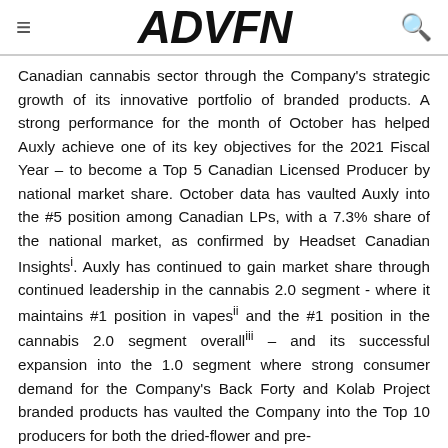ADVFN
Canadian cannabis sector through the Company's strategic growth of its innovative portfolio of branded products. A strong performance for the month of October has helped Auxly achieve one of its key objectives for the 2021 Fiscal Year – to become a Top 5 Canadian Licensed Producer by national market share. October data has vaulted Auxly into the #5 position among Canadian LPs, with a 7.3% share of the national market, as confirmed by Headset Canadian Insightsi. Auxly has continued to gain market share through continued leadership in the cannabis 2.0 segment - where it maintains #1 position in vapesii and the #1 position in the cannabis 2.0 segment overalliii – and its successful expansion into the 1.0 segment where strong consumer demand for the Company's Back Forty and Kolab Project branded products has vaulted the Company into the Top 10 producers for both the dried-flower and pre-